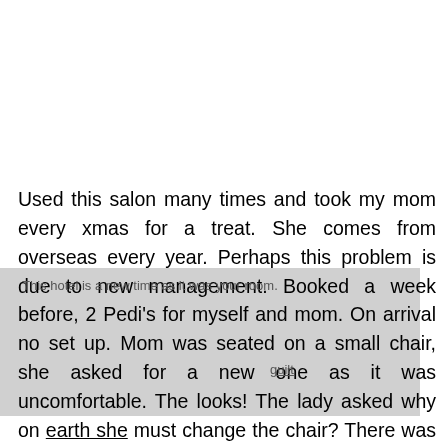Used this salon many times and took my mom every xmas for a treat. She comes from overseas every year. Perhaps this problem is due to new management. Booked a week before, 2 Pedi's for myself and mom. On arrival no set up. Mom was seated on a small chair, she asked for a new one as it was uncomfortable. The looks! The lady asked why on earth she must change the chair? There was no space for us to sit. They moved us 3 times while our feet were in the water. Ladies were disgustingly rude and the attitude! We were told that they are in a hurry as it is fully booked.